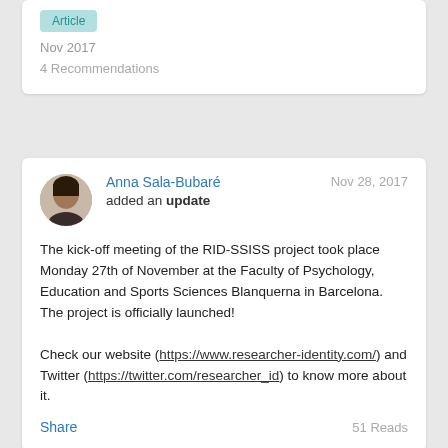Article
Nov 2017
4 Recommendations
Anna Sala-Bubaré added an update
Nov 28, 2017
The kick-off meeting of the RID-SSISS project took place Monday 27th of November at the Faculty of Psychology, Education and Sports Sciences Blanquerna in Barcelona. The project is officially launched!

Check our website (https://www.researcher-identity.com/) and Twitter (https://twitter.com/researcher_id) to know more about it.
Share
51 Reads